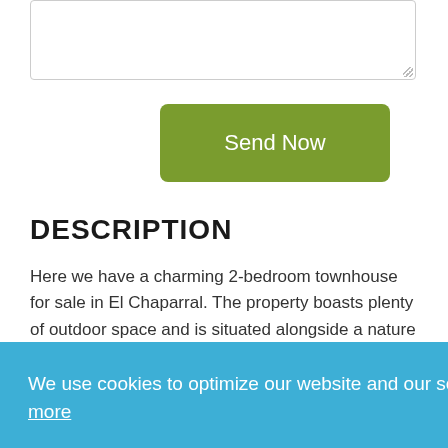[Figure (screenshot): Textarea input box with resize handle in bottom-right corner]
[Figure (screenshot): Green 'Send Now' button]
DESCRIPTION
Here we have a charming 2-bedroom townhouse for sale in El Chaparral. The property boasts plenty of outdoor space and is situated alongside a nature reserve along with the famous Salt Lake of La Mata.
The property is located in a well-liked and multinational community (Villa Laguna) which is fully gated and offers a large communal pool along with plenty of space for sunbathing and relaxing.
Ideally situated within walking distance to amenities, this
We use cookies to optimize our website and our service.  Read more
Functional only
All cookies